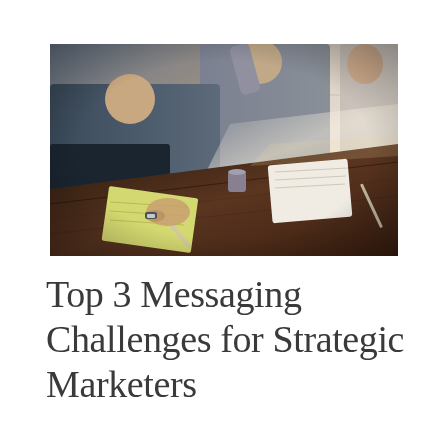[Figure (photo): Business meeting scene: several people sitting at a dark wooden table, writing notes and discussing. Shot from a low angle, showing hands, arms, notebooks and pens, with a bright window in the background.]
Top 3 Messaging Challenges for Strategic Marketers